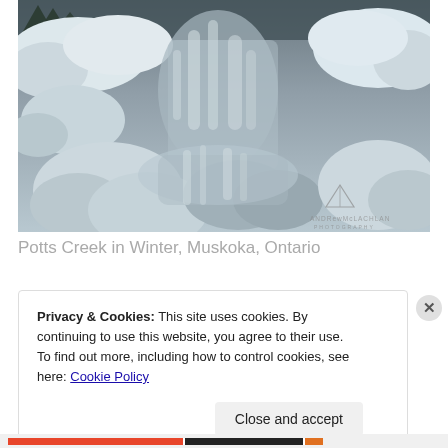[Figure (photo): A winter landscape photo of Potts Creek in Muskoka, Ontario. A cascading waterfall flows over rocks heavily covered in ice and snow. The scene is monochromatic with blues and grays. A photographer watermark 'Andrew McLachlan Photography' with a triangle/mountain logo is visible in the lower right corner.]
Potts Creek in Winter, Muskoka, Ontario
Privacy & Cookies: This site uses cookies. By continuing to use this website, you agree to their use.
To find out more, including how to control cookies, see here: Cookie Policy
Close and accept